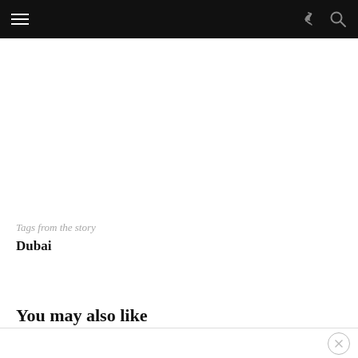Navigation bar with hamburger menu, share icon, and search icon
Tags from the story
Dubai
You may also like